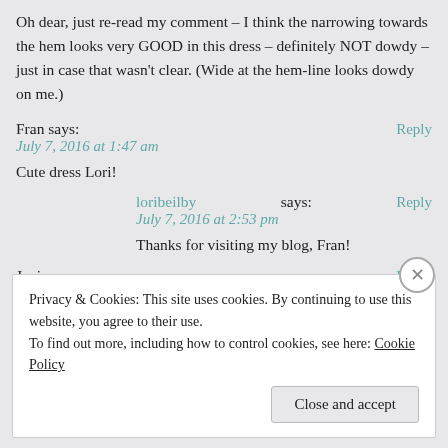Oh dear, just re-read my comment – I think the narrowing towards the hem looks very GOOD in this dress – definitely NOT dowdy – just in case that wasn't clear. (Wide at the hem-line looks dowdy on me.)
Fran says:
July 7, 2016 at 1:47 am
Cute dress Lori!
loribeilby says:
July 7, 2016 at 2:53 pm
Thanks for visiting my blog, Fran!
Janie says:
July 7, 2016 at 6:27 pm
Privacy & Cookies: This site uses cookies. By continuing to use this website, you agree to their use.
To find out more, including how to control cookies, see here: Cookie Policy
Close and accept